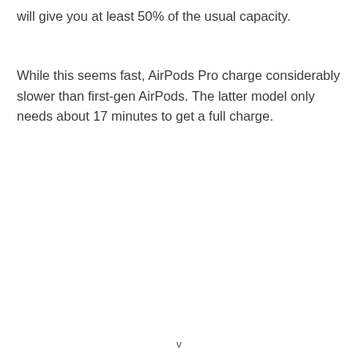will give you at least 50% of the usual capacity.
While this seems fast, AirPods Pro charge considerably slower than first-gen AirPods. The latter model only needs about 17 minutes to get a full charge.
v